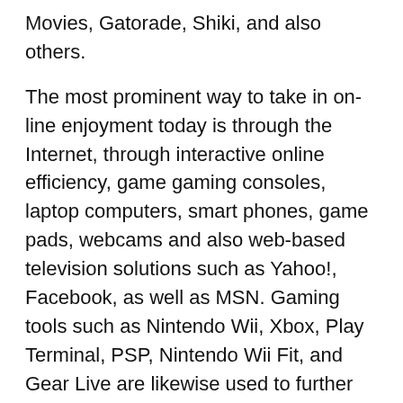Movies, Gatorade, Shiki, and also others.
The most prominent way to take in on-line enjoyment today is through the Internet, through interactive online efficiency, game gaming consoles, laptop computers, smart phones, game pads, webcams and also web-based television solutions such as Yahoo!, Facebook, as well as MSN. Gaming tools such as Nintendo Wii, Xbox, Play Terminal, PSP, Nintendo Wii Fit, and Gear Live are likewise used to further expand using online home entertainment. Computer game gaming consoles such as X-Box, PlayStation, Wii, and Nintendo Wii have been adjusted to enable on-line video gaming. It has actually ended up being feasible to stream high quality computer game from DVD's and Blu-ray Discs as well as can be enjoyed on-line at any moment, anywhere. Video gaming linked devices such as Sony Play Terminal as well as Nintendo Wii have actually made the experience of playing video games for a truly interactive experience, where in-game communication is really natural,